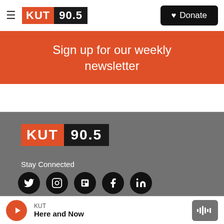[Figure (logo): KUT 90.5 radio station logo in header — red KUT block and black 90.5 block]
Donate
Sign up for our weekly newsletter
[Figure (logo): KUT 90.5 radio station logo in footer — red KUT block and black 90.5 block]
Stay Connected
[Figure (infographic): Five round black social media icon buttons: Twitter, Instagram, Flipboard, Facebook, LinkedIn]
KUT
Here and Now